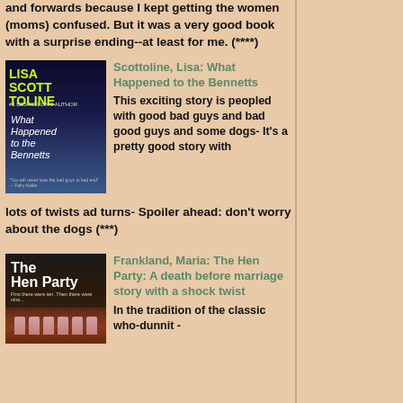and forwards because I kept getting the women (moms) confused. But it was a very good book with a surprise ending--at least for me. (****)
[Figure (photo): Book cover of 'What Happened to the Bennetts' by Lisa Scottoline - dark blue background with author name in yellow-green, title in white italic text]
Scottoline, Lisa: What Happened to the Bennetts
This exciting story is peopled with good bad guys and bad good guys and some dogs- It's a pretty good story with lots of twists ad turns- Spoiler ahead: don't worry about the dogs (***)
[Figure (photo): Book cover of 'The Hen Party' by Maria Frankland - dark background with white text, champagne glasses at the bottom]
Frankland, Maria: The Hen Party: A death before marriage story with a shock twist
In the tradition of the classic who-dunnit -